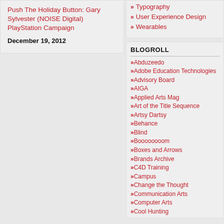Push The Holiday Button: Gary Sylvester (NOISE Digital) PlayStation Campaign
December 19, 2012
Typography
User Experience Design
Wearables
BLOGROLL
Abduzeedo
Adobe Education Technologies
Advisory Board
AIGA
Applied Arts Mag
Art of the Title Sequence
Artsy Dartsy
Behance
Blind
Boooooooom
Boxes and Arrows
Brands Archive
C4D Training
Campus
Change the Thought
Communication Arts
Computer Arts
Cool Hunting